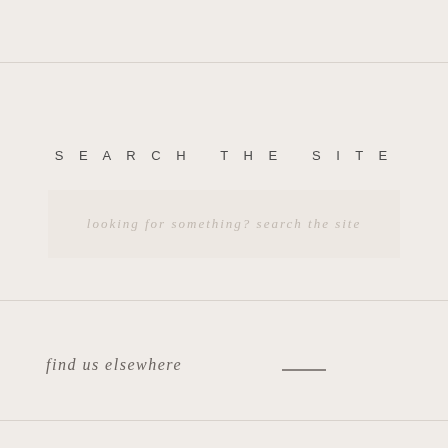SEARCH THE SITE
looking for something? search the site
find us elsewhere
[Figure (illustration): Social media icons: Instagram, Facebook, TikTok, Pinterest in dark navy color]